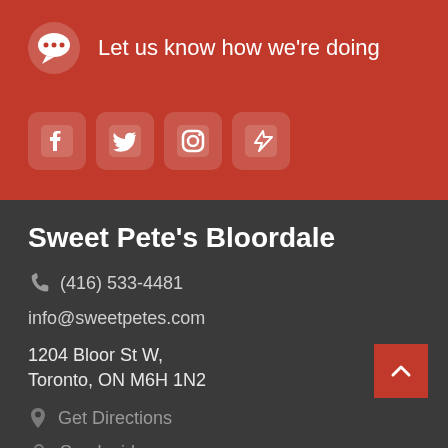Let us know how we're doing
[Figure (other): Social media icons: Facebook, Twitter, Instagram, Pointy]
Sweet Pete's Bloordale
(416) 533-4481
info@sweetpetes.com
1204 Bloor St W, Toronto, ON M6H 1N2
Get Directions
See Inside